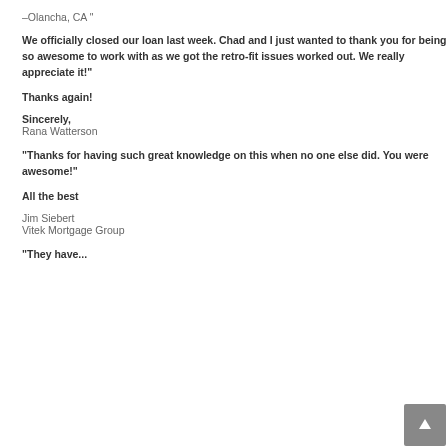–Olancha, CA "
We officially closed our loan last week. Chad and I just wanted to thank you for being so awesome to work with as we got the retro-fit issues worked out. We really appreciate it!"
Thanks again!
Sincerely,
Rana Watterson
"Thanks for having such great knowledge on this when no one else did. You were awesome!"
All the best
Jim Siebert
Vitek Mortgage Group